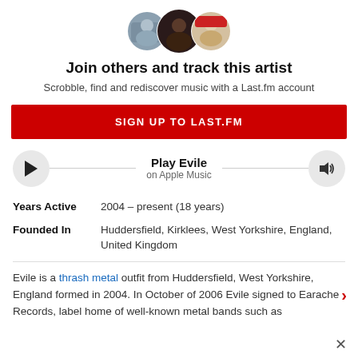[Figure (illustration): Three circular avatar photos overlapping slightly, showing user profile pictures]
Join others and track this artist
Scrobble, find and rediscover music with a Last.fm account
SIGN UP TO LAST.FM
[Figure (infographic): Play bar with play button circle on left, 'Play Evile / on Apple Music' text in center, speaker icon circle on right]
| Years Active | 2004 – present (18 years) |
| Founded In | Huddersfield, Kirklees, West Yorkshire, England, United Kingdom |
Evile is a thrash metal outfit from Huddersfield, West Yorkshire, England formed in 2004. In October of 2006 Evile signed to Earache Records, label home of well-known metal bands such as